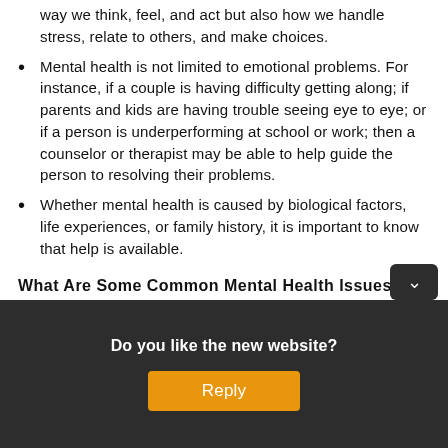way we think, feel, and act but also how we handle stress, relate to others, and make choices.
Mental health is not limited to emotional problems. For instance, if a couple is having difficulty getting along; if parents and kids are having trouble seeing eye to eye; or if a person is underperforming at school or work; then a counselor or therapist may be able to help guide the person to resolving their problems.
Whether mental health is caused by biological factors, life experiences, or family history, it is important to know that help is available.
What Are Some Common Mental Health Issues?
Stress: Defined as the body's re...
Do you like the new website?
Reply